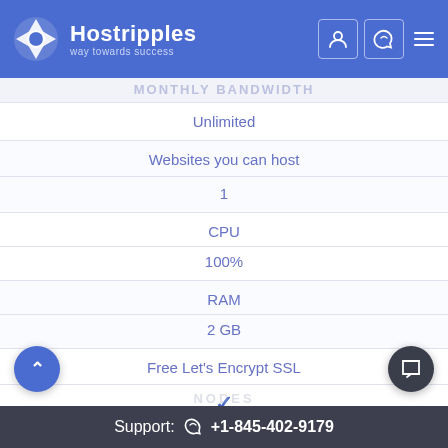Hostripples - way towards success
Monthly Bandwidth
| Unlimited |
| Websites you can host |
| 1 |
| CPU |
| 100% |
| RAM |
| 2 GB |
| Free Let's Encrypt SSL |
| ✓ |
Support: +1-845-402-9179